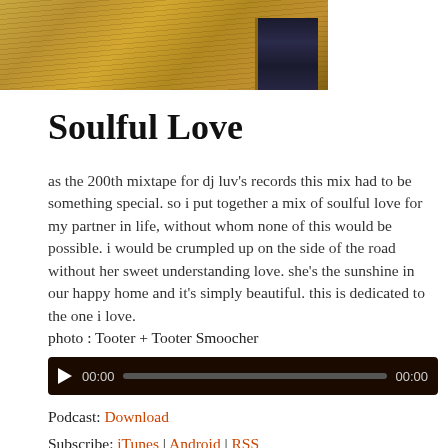[Figure (photo): Partial view of a wooden/decorative surface image cropped at top of page, approximately 328px wide and 90px tall]
Soulful Love
as the 200th mixtape for dj luv's records this mix had to be something special. so i put together a mix of soulful love for my partner in life, without whom none of this would be possible. i would be crumpled up on the side of the road without her sweet understanding love. she's the sunshine in our happy home and it's simply beautiful. this is dedicated to the one i love.
photo : Tooter + Tooter Smoocher
[Figure (other): Audio player widget with play button, time display 00:00, progress bar, and end time 00:00 on dark background]
Podcast: Download
Subscribe: iTunes | Android | RSS